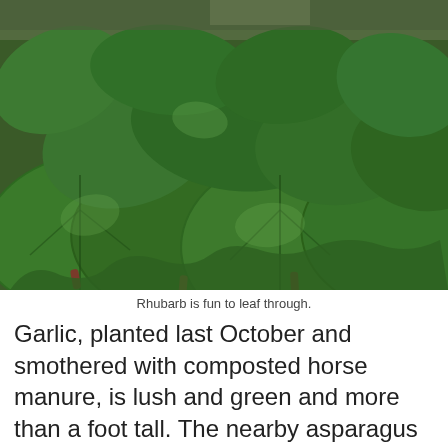[Figure (photo): A large rhubarb plant with wide, lush, dark green crinkled leaves filling the frame, photographed in a garden setting.]
Rhubarb is fun to leaf through.
Garlic, planted last October and smothered with composted horse manure, is lush and green and more than a foot tall. The nearby asparagus and rhubarb have already graced our plates, a welcome infusion of fresh, not frozen, produce. Next up will be sowing Three Sisters mounds in the backyard — with popcorn, winter squash and